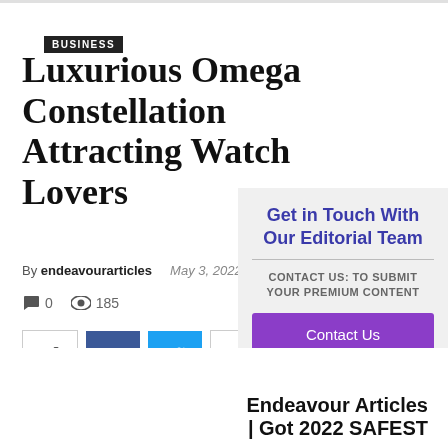BUSINESS
Luxurious Omega Constellation Attracting Watch Lovers
By endeavourarticles   May 3, 2022
💬 0   👁 185
[Figure (other): Social sharing buttons: share, Facebook, Twitter, plus]
Get in Touch With Our Editorial Team
CONTACT US: TO SUBMIT YOUR PREMIUM CONTENT
Contact Us
Endeavour Articles | Got 2022 SAFEST